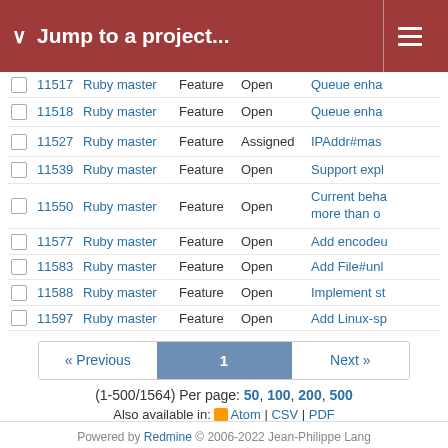Jump to a project...
|  | # | Project | Tracker | Status | Subject |
| --- | --- | --- | --- | --- | --- |
|  | 11517 | Ruby master | Feature | Open | Queue enha... |
|  | 11518 | Ruby master | Feature | Open | Queue enha... |
|  | 11527 | Ruby master | Feature | Assigned | IPAddr#mas... |
|  | 11539 | Ruby master | Feature | Open | Support expl... |
|  | 11550 | Ruby master | Feature | Open | Current beha... more than o... |
|  | 11577 | Ruby master | Feature | Open | Add encodeu... |
|  | 11583 | Ruby master | Feature | Open | Add File#unl... |
|  | 11588 | Ruby master | Feature | Open | Implement st... |
|  | 11597 | Ruby master | Feature | Open | Add Linux-sp... |
« Previous   1   Next »
(1-500/1564) Per page: 50, 100, 200, 500
Also available in: Atom | CSV | PDF
Powered by Redmine © 2006-2022 Jean-Philippe Lang